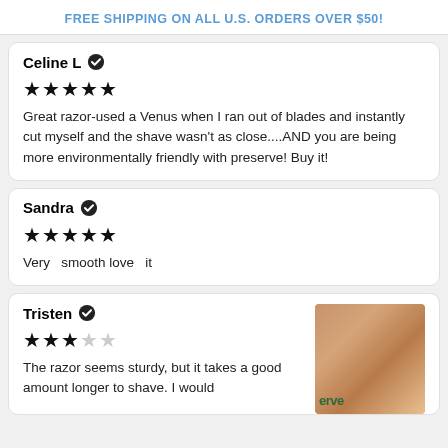FREE SHIPPING ON ALL U.S. ORDERS OVER $50!
Celine L ✔
★★★★★
Great razor-used a Venus when I ran out of blades and instantly cut myself and the shave wasn't as close....AND you are being more environmentally friendly with preserve! Buy it!
Sandra ✔
★★★★★
Very  smooth love  it
Tristen ✔
★★★☆☆
The razor seems sturdy, but it takes a good amount longer to shave. I would
[Figure (photo): Photo of a Preserve razor product in its packaging, showing the green 'erve' branding text, set against a wooden background.]